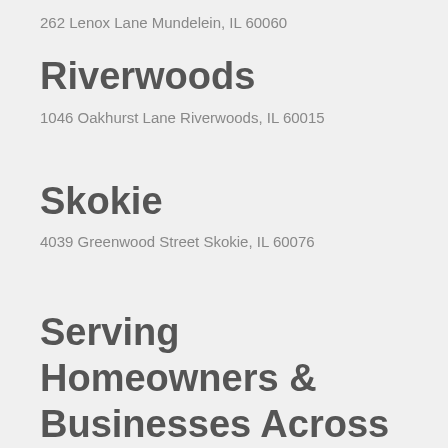262 Lenox Lane Mundelein, IL 60060
Riverwoods
1046 Oakhurst Lane Riverwoods, IL 60015
Skokie
4039 Greenwood Street Skokie, IL 60076
Serving Homeowners & Businesses Across Chicagoland
Chicago